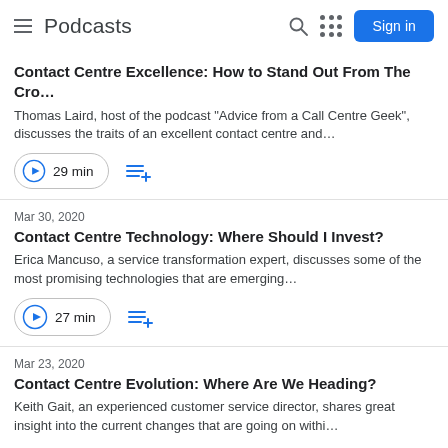Podcasts  Sign in
Contact Centre Excellence: How to Stand Out From The Cro…
Thomas Laird, host of the podcast "Advice from a Call Centre Geek", discusses the traits of an excellent contact centre and…
29 min
Mar 30, 2020
Contact Centre Technology: Where Should I Invest?
Erica Mancuso, a service transformation expert, discusses some of the most promising technologies that are emerging…
27 min
Mar 23, 2020
Contact Centre Evolution: Where Are We Heading?
Keith Gait, an experienced customer service director, shares great insight into the current changes that are going on withi…